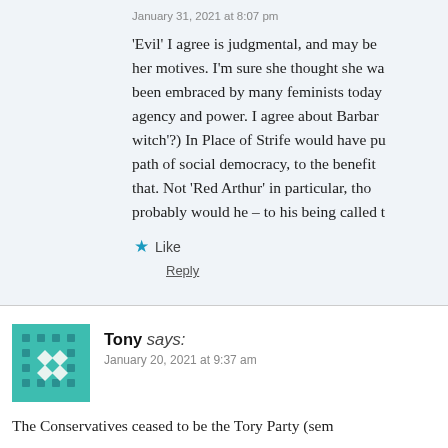January 31, 2021 at 8:07 pm
'Evil' I agree is judgmental, and may be her motives. I'm sure she thought she was been embraced by many feminists today agency and power. I agree about Barbar witch'?) In Place of Strife would have pu path of social democracy, to the benefit that. Not 'Red Arthur' in particular, tho probably would he – to his being called t
Like
Reply
Tony says:
January 20, 2021 at 9:37 am
The Conservatives ceased to be the Tory Party (sem